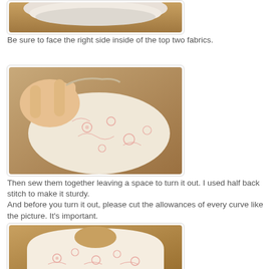[Figure (photo): Top portion of fabric layers stacked on a wooden surface, partially cut off at top]
Be sure to face the right side inside of the top two fabrics.
[Figure (photo): Hand holding fabric piece with floral pink pattern showing the inside/wrong side of the fabric]
Then sew them together leaving a space to turn it out. I used half back stitch to make it sturdy.
And before you turn it out, please cut the allowances of every curve like the picture. It's important.
[Figure (photo): Baby bib with floral pink pattern laid flat showing the neck opening]